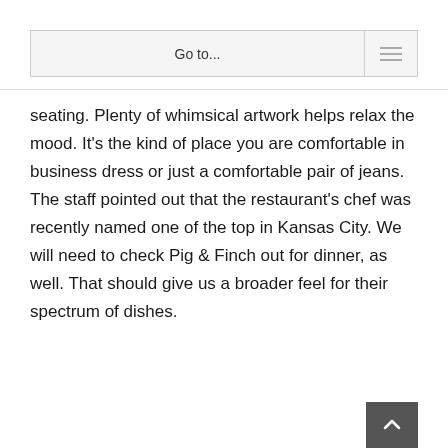Go to...
seating. Plenty of whimsical artwork helps relax the mood. It's the kind of place you are comfortable in business dress or just a comfortable pair of jeans. The staff pointed out that the restaurant's chef was recently named one of the top in Kansas City. We will need to check Pig & Finch out for dinner, as well. That should give us a broader feel for their spectrum of dishes.